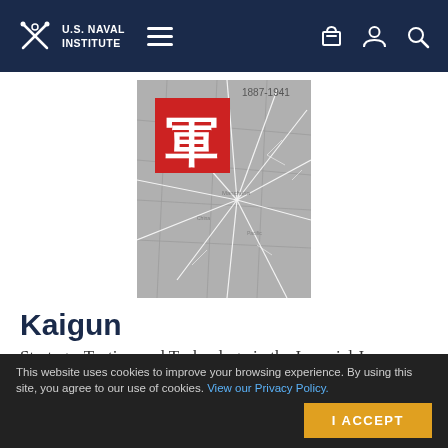U.S. Naval Institute
[Figure (photo): Book cover of Kaigun showing a Japanese kanji character on a red square over a gray map background with cracked lines, with '1887-1941' text visible at top]
Kaigun
Strategy, Tactics, and Technology in the Imperial Japanese Navy, 1887-1941
By David C. Evans and Mark R. Peattie
One of the great spectacles of modern naval history is the Imperial Japanese
This website uses cookies to improve your browsing experience. By using this site, you agree to our use of cookies. View our Privacy Policy. I ACCEPT